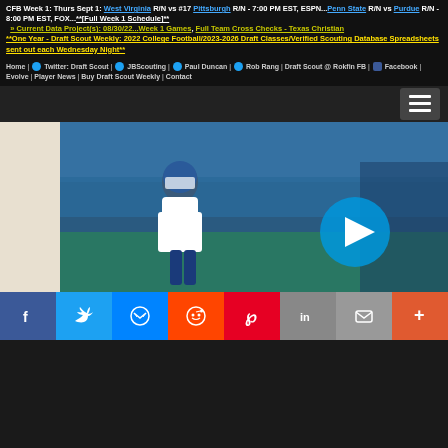CFB Week 1: Thurs Sept 1: West Virginia R/N vs #17 Pittsburgh R/N - 7:00 PM EST, ESPN...Penn State R/N vs Purdue R/N - 8:00 PM EST, FOX...**[Full Week 1 Schedule]**
>> Current Data Project(s): 08/30/22...Week 1 Games, Full Team Cross Checks - Texas Christian
**One Year - Draft Scout Weekly: 2022 College Football/2023-2026 Draft Classes/Verified Scouting Database Spreadsheets sent out each Wednesday Night**
Home | Twitter: Draft Scout | JBScouting | Paul Duncan | Rob Rang | Draft Scout @ Rokfin FB | Facebook | Evolve | Player News | Buy Draft Scout Weekly | Contact
[Figure (screenshot): Football player in blue and white uniform with helmet, standing on field with blue stadium seats in background. A blue circular play button overlay is visible on the right side of the image.]
Social share bar: Facebook, Twitter, Messenger, Reddit, Pinterest, LinkedIn, Email, More